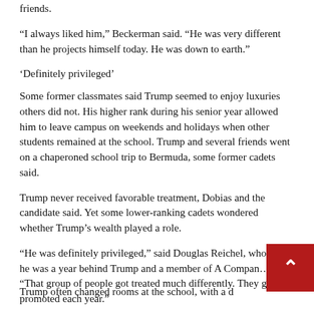friends.
“I always liked him,” Beckerman said. “He was very different than he projects himself today. He was down to earth.”
‘Definitely privileged’
Some former classmates said Trump seemed to enjoy luxuries others did not. His higher rank during his senior year allowed him to leave campus on weekends and holidays when other students remained at the school. Trump and several friends went on a chaperoned school trip to Bermuda, some former cadets said.
Trump never received favorable treatment, Dobias and the candidate said. Yet some lower-ranking cadets wondered whether Trump’s wealth played a role.
“He was definitely privileged,” said Douglas Reichel, who said he was a year behind Trump and a member of A Company. “That group of people got treated much differently. They got promoted each year.”
Trump often changed rooms at the school, with a d...